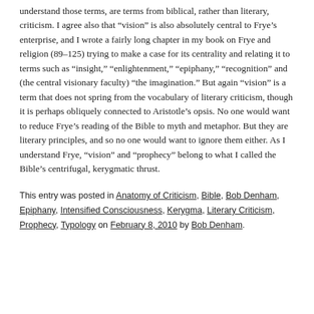understand those terms, are terms from biblical, rather than literary, criticism. I agree also that “vision” is also absolutely central to Frye’s enterprise, and I wrote a fairly long chapter in my book on Frye and religion (89–125) trying to make a case for its centrality and relating it to terms such as “insight,” “enlightenment,” “epiphany,” “recognition” and (the central visionary faculty) “the imagination.” But again “vision” is a term that does not spring from the vocabulary of literary criticism, though it is perhaps obliquely connected to Aristotle’s opsis. No one would want to reduce Frye’s reading of the Bible to myth and metaphor. But they are literary principles, and so no one would want to ignore them either. As I understand Frye, “vision” and “prophecy” belong to what I called the Bible’s centrifugal, kerygmatic thrust.
This entry was posted in Anatomy of Criticism, Bible, Bob Denham, Epiphany, Intensified Consciousness, Kerygma, Literary Criticism, Prophecy, Typology on February 8, 2010 by Bob Denham.